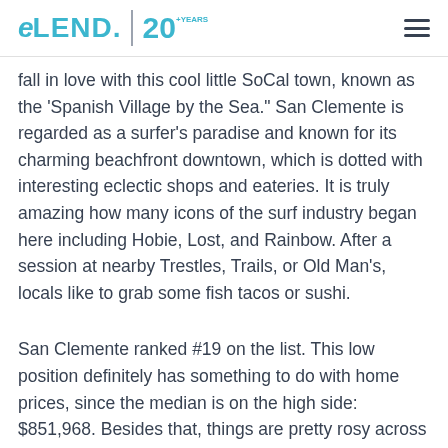eLEND 20+YEARS
fall in love with this cool little SoCal town, known as the 'Spanish Village by the Sea." San Clemente is regarded as a surfer's paradise and known for its charming beachfront downtown, which is dotted with interesting eclectic shops and eateries. It is truly amazing how many icons of the surf industry began here including Hobie, Lost, and Rainbow. After a session at nearby Trestles, Trails, or Old Man's, locals like to grab some fish tacos or sushi.
San Clemente ranked #19 on the list. This low position definitely has something to do with home prices, since the median is on the high side: $851,968. Besides that, things are pretty rosy across the board with a grade of A for crime, 100 good air quality days annually, 61 for the average temperature and 76 days of sunshine.